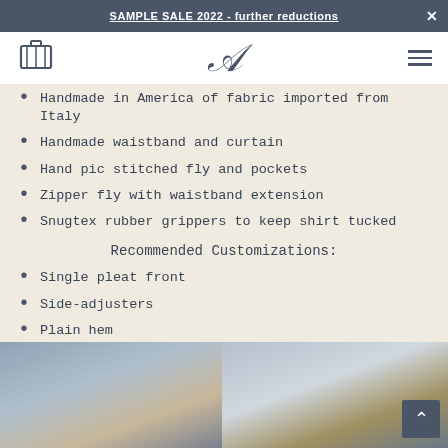SAMPLE SALE 2022 - further reductions
Handmade in America of fabric imported from Italy
Handmade waistband and curtain
Hand pic stitched fly and pockets
Zipper fly with waistband extension
Snugtex rubber grippers to keep shirt tucked
Recommended Customizations:
Single pleat front
Side-adjusters
Plain hem
[Figure (photo): Worker at sewing machine in garment factory workshop]
[Figure (photo): Tailor closely inspecting garment work in workshop]